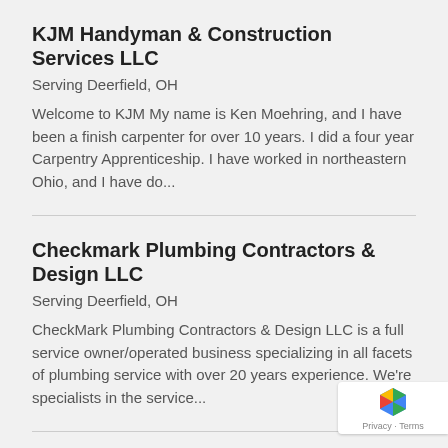KJM Handyman & Construction Services LLC
Serving Deerfield, OH
Welcome to KJM My name is Ken Moehring, and I have been a finish carpenter for over 10 years. I did a four year Carpentry Apprenticeship. I have worked in northeastern Ohio, and I have do...
Checkmark Plumbing Contractors & Design LLC
Serving Deerfield, OH
CheckMark Plumbing Contractors & Design LLC is a full service owner/operated business specializing in all facets of plumbing service with over 20 years experience. We're specialists in the service...
Olivieri Contracting Inc
Serving Deerfield, OH
Olivieri Plumbing Inc. handles residential and commercial plumbing projects. Our company provides quality solution plumbing projects that include everything from kitchen and bath